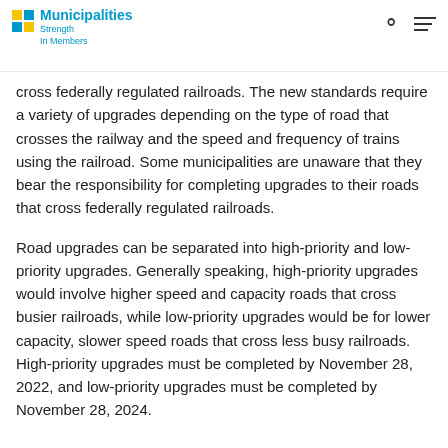Alberta Municipalities — Strength In Members
cross federally regulated railroads. The new standards require a variety of upgrades depending on the type of road that crosses the railway and the speed and frequency of trains using the railroad. Some municipalities are unaware that they bear the responsibility for completing upgrades to their roads that cross federally regulated railroads.
Road upgrades can be separated into high-priority and low-priority upgrades. Generally speaking, high-priority upgrades would involve higher speed and capacity roads that cross busier railroads, while low-priority upgrades would be for lower capacity, slower speed roads that cross less busy railroads. High-priority upgrades must be completed by November 28, 2022, and low-priority upgrades must be completed by November 28, 2024.